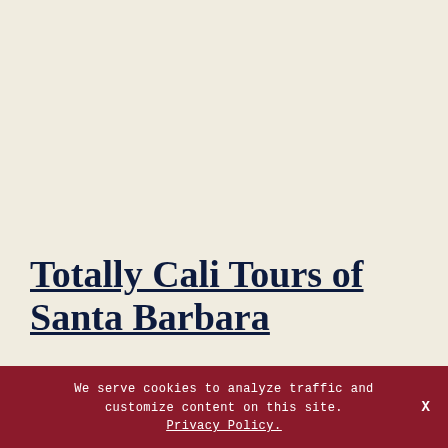Totally Cali Tours of Santa Barbara
We serve cookies to analyze traffic and customize content on this site. Privacy Policy.